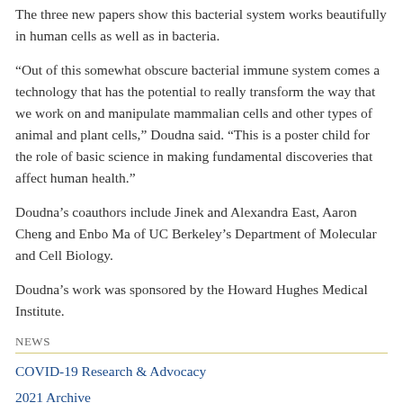The three new papers show this bacterial system works beautifully in human cells as well as in bacteria.
“Out of this somewhat obscure bacterial immune system comes a technology that has the potential to really transform the way that we work on and manipulate mammalian cells and other types of animal and plant cells,” Doudna said. “This is a poster child for the role of basic science in making fundamental discoveries that affect human health.”
Doudna’s coauthors include Jinek and Alexandra East, Aaron Cheng and Enbo Ma of UC Berkeley’s Department of Molecular and Cell Biology.
Doudna’s work was sponsored by the Howard Hughes Medical Institute.
NEWS
COVID-19 Research & Advocacy
2021 Archive